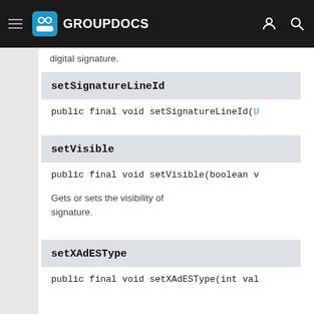GROUPDOCS
digital signature.
setSignatureLineId
public final void setSignatureLineId(U
setVisible
public final void setVisible(boolean v
Gets or sets the visibility of signature.
setXAdESType
public final void setXAdESType(int val